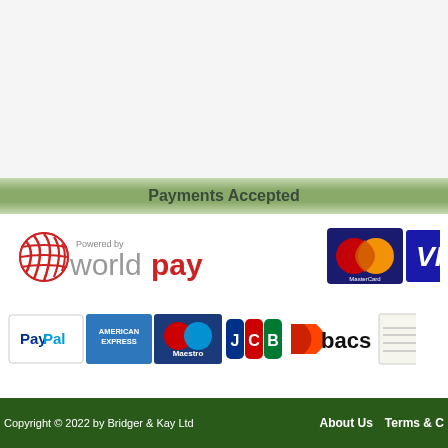Payments Accepted
[Figure (logo): Powered by Worldpay logo with red globe icon, grey 'world' and red 'pay' text]
[Figure (logo): MasterCard logo - overlapping red and orange circles]
[Figure (logo): Visa logo - partially visible blue banner]
[Figure (logo): PayPal logo in white box]
[Figure (logo): American Express blue logo]
[Figure (logo): Maestro card logo blue/red]
[Figure (logo): JCB logo multicolor]
[Figure (logo): Bacs payment logo red and black]
[Figure (logo): Cheque image partially visible]
Copyright © 2022 by Bridger & Kay Ltd   About Us   Terms & C